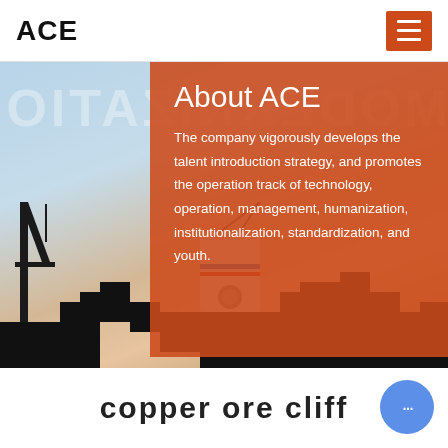ACE
[Figure (photo): Industrial/port scene with crane and machinery silhouette against a sky background, with watermark text in background.]
About ACE
The company vigorously develops the talent introduction strategy, and promotes the operation track of technology, operation, management, humanization, institutionalization, standardization, and youth.
copper ore cliff